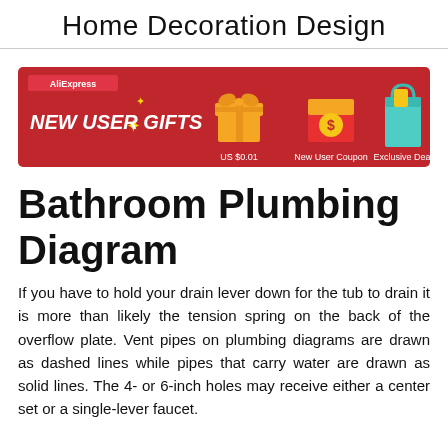Home Decoration Design
[Figure (infographic): AliExpress advertisement banner with red background showing 'NEW USER GIFTS' with three items: US $0.01, New User Coupon, and Exclusive Deal, each with gift box icons.]
Bathroom Plumbing Diagram
If you have to hold your drain lever down for the tub to drain it is more than likely the tension spring on the back of the overflow plate. Vent pipes on plumbing diagrams are drawn as dashed lines while pipes that carry water are drawn as solid lines. The 4- or 6-inch holes may receive either a center set or a single-lever faucet.